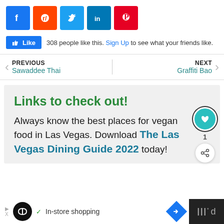[Figure (screenshot): Row of social media share buttons: Facebook (blue), Reddit (orange), Twitter (light blue), LinkedIn (dark blue), Pinterest (red)]
[Figure (screenshot): Facebook Like button widget with thumbs up icon. Text: '308 people like this. Sign Up to see what your friends like.']
PREVIOUS
Sawaddee Thai
NEXT
Graffiti Bao
Links to check out!
Always know the best places for vegan food in Las Vegas. Download The Las Vegas Dining Guide 2022 today!
[Figure (screenshot): Advertisement bar at bottom: infinity logo circle, checkmark, 'In-store shopping' text, blue diamond arrow icon]